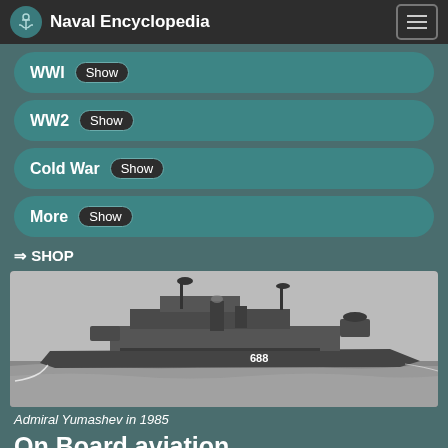Naval Encyclopedia
WWI Show
WW2 Show
Cold War Show
More Show
⇒ SHOP
[Figure (photo): Black and white photograph of a Soviet naval warship numbered 688 (Admiral Yumashev) at sea, 1985]
Admiral Yumashev in 1985
On Board aviation